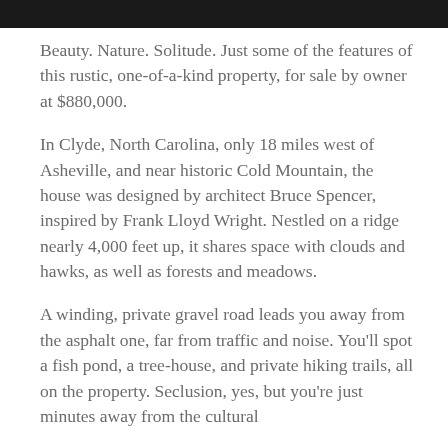[Figure (photo): Black banner/header bar at the top of the page]
Beauty. Nature. Solitude. Just some of the features of this rustic, one-of-a-kind property, for sale by owner at $880,000.
In Clyde, North Carolina, only 18 miles west of Asheville, and near historic Cold Mountain, the house was designed by architect Bruce Spencer, inspired by Frank Lloyd Wright. Nestled on a ridge nearly 4,000 feet up, it shares space with clouds and hawks, as well as forests and meadows.
A winding, private gravel road leads you away from the asphalt one, far from traffic and noise. You'll spot a fish pond, a tree-house, and private hiking trails, all on the property. Seclusion, yes, but you're just minutes away from the cultural